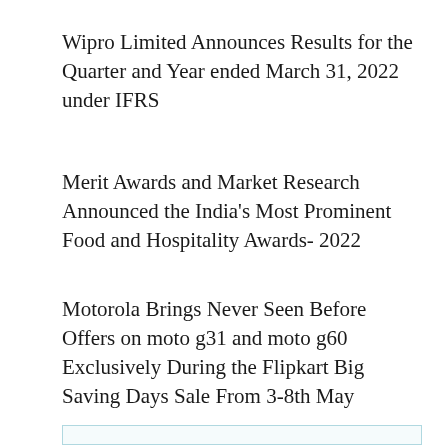Wipro Limited Announces Results for the Quarter and Year ended March 31, 2022 under IFRS
Merit Awards and Market Research Announced the India's Most Prominent Food and Hospitality Awards- 2022
Motorola Brings Never Seen Before Offers on moto g31 and moto g60 Exclusively During the Flipkart Big Saving Days Sale From 3-8th May